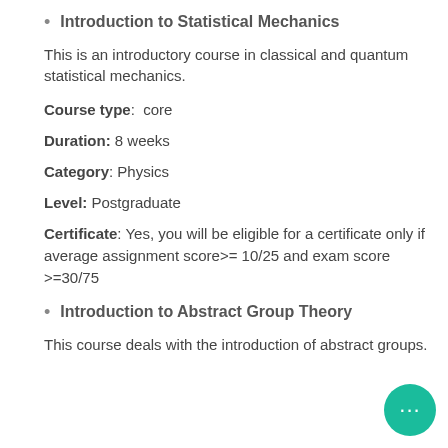Introduction to Statistical Mechanics
This is an introductory course in classical and quantum statistical mechanics.
Course type:  core
Duration: 8 weeks
Category: Physics
Level: Postgraduate
Certificate: Yes, you will be eligible for a certificate only if average assignment score>= 10/25 and exam score >=30/75
Introduction to Abstract Group Theory
This course deals with the introduction of abstract groups.